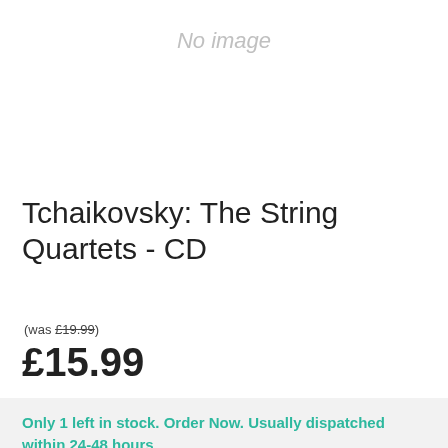[Figure (other): No image placeholder area with italic grey text 'No image']
Tchaikovsky: The String Quartets - CD
(was £19.99)
£15.99
Only 1 left in stock. Order Now. Usually dispatched within 24-48 hours